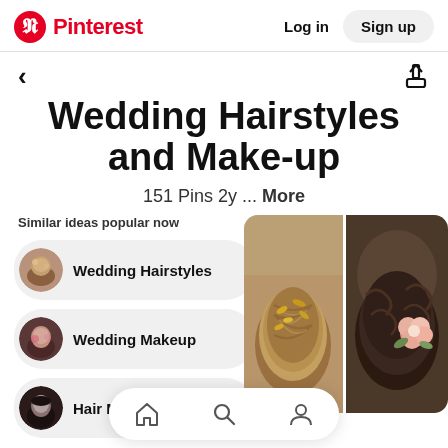Pinterest  Log in  Sign up
Wedding Hairstyles and Make-up
151 Pins 2y ... More
Similar ideas popular now
Wedding Hairstyles
Wedding Makeup
Hair Make...
[Figure (photo): Two wedding updo hairstyle photos side by side]
[Figure (screenshot): Bottom navigation bar with home, search, and profile icons]